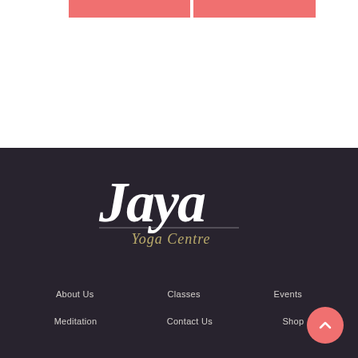[Figure (logo): Two coral/salmon pink horizontal bars at the top of the page]
[Figure (logo): Jaya Yoga Centre logo in white cursive script with gold 'Yoga Centre' subtitle, on dark background]
About Us   Classes   Events   Meditation   Contact Us   Shop